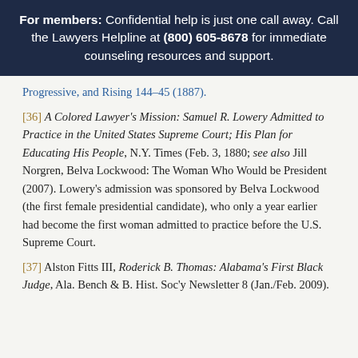For members: Confidential help is just one call away. Call the Lawyers Helpline at (800) 605-8678 for immediate counseling resources and support.
Progressive, and Rising 144–45 (1887).
[36] A Colored Lawyer's Mission: Samuel R. Lowery Admitted to Practice in the United States Supreme Court; His Plan for Educating His People, N.Y. Times (Feb. 3, 1880; see also Jill Norgren, Belva Lockwood: The Woman Who Would be President (2007). Lowery's admission was sponsored by Belva Lockwood (the first female presidential candidate), who only a year earlier had become the first woman admitted to practice before the U.S. Supreme Court.
[37] Alston Fitts III, Roderick B. Thomas: Alabama's First Black Judge, Ala. Bench & B. Hist. Soc'y Newsletter 8 (Jan./Feb. 2009).